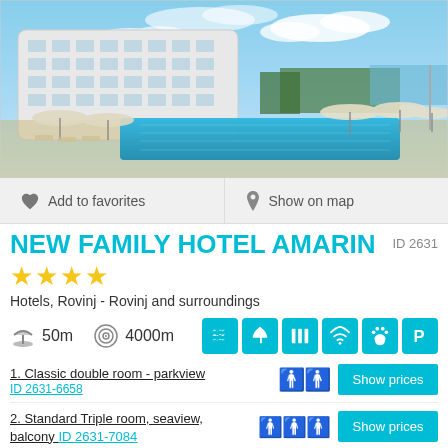[Figure (photo): Hotel Amarin exterior with large outdoor swimming pool, sun umbrellas, and blue sky]
Add to favorites
Show on map
NEW FAMILY HOTEL AMARIN
ID 2631
★★★★
Hotels, Rovinj - Rovinj and surroundings
50m   4000m
1. Classic double room - parkview
ID 2631-6658
2. Standard Triple room, seaview, balcony ID 2631-7084
3. Premium room with 2 extra beds, sea